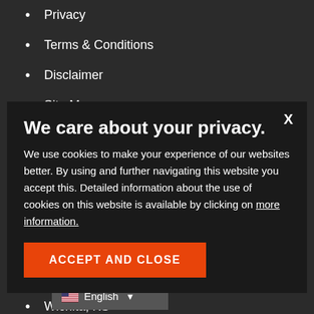Privacy
Terms & Conditions
Disclaimer
Site Map
CONTACT US
Manhattan, KS
Garden City, KS
Leander, KS
Stillwater, OK
Wichita, KS
We care about your privacy.
We use cookies to make your experience of our websites better. By using and further navigating this website you accept this. Detailed information about the use of cookies on this website is available by clicking on more information.
ACCEPT AND CLOSE
English